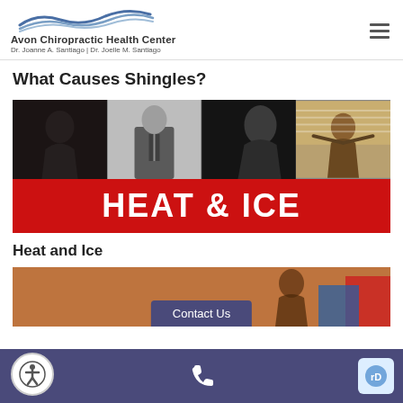Avon Chiropractic Health Center | Dr. Joanne A. Santiago | Dr. Joelle M. Santiago
What Causes Shingles?
[Figure (photo): Collage of four photos showing people in stress/wellness poses, combined with a red banner reading HEAT & ICE]
Heat and Ice
[Figure (photo): Partial photo of a person outdoors, with Contact Us button overlay and footer bar with phone icon and accessibility button]